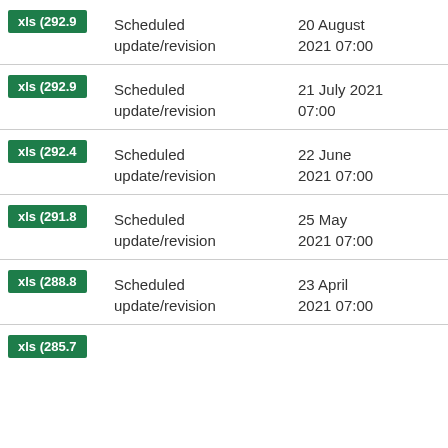| File | Type | Date |
| --- | --- | --- |
| xls (292.9 | Scheduled update/revision | 20 August 2021 07:00 |
| xls (292.9 | Scheduled update/revision | 21 July 2021 07:00 |
| xls (292.4 | Scheduled update/revision | 22 June 2021 07:00 |
| xls (291.8 | Scheduled update/revision | 25 May 2021 07:00 |
| xls (288.8 | Scheduled update/revision | 23 April 2021 07:00 |
| xls (285.7 |  |  |